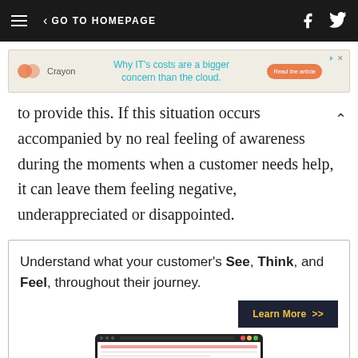< GO TO HOMEPAGE
[Figure (other): Crayon advertisement banner: Why IT's costs are a bigger concern than the cloud. Read the article button.]
to provide this. If this situation occurs accompanied by no real feeling of awareness during the moments when a customer needs help, it can leave them feeling negative, underappreciated or disappointed.
Understand what your customer's See, Think, and Feel, throughout their journey. Learn More >>